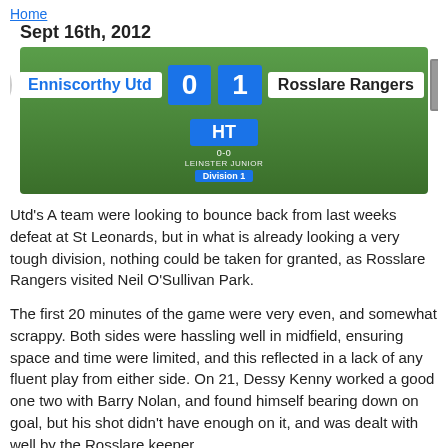Home
Sept 16th, 2012
[Figure (infographic): Football match scoreboard: Enniscorthy Utd 0 - 1 Rosslare Rangers, HT, Division 1]
Utd's A team were looking to bounce back from last weeks defeat at St Leonards, but in what is already looking a very tough division, nothing could be taken for granted, as Rosslare Rangers visited Neil O'Sullivan Park.
The first 20 minutes of the game were very even, and somewhat scrappy. Both sides were hassling well in midfield, ensuring space and time were limited, and this reflected in a lack of any fluent play from either side. On 21, Dessy Kenny worked a good one two with Barry Nolan, and found himself bearing down on goal, but his shot didn't have enough on it, and was dealt with well by the Rosslare keeper.
The visitor's came back, and but for quick reactions from Damien Tobin in the Utd goal, could have taken the lead, the Utd keeper getting out well to smother a shot. Mick Rigley got behind the away defence, but the ball did not behave well, and what seemed a chance was shut down.
From 30 minutes, the visiting team started to get on top, their